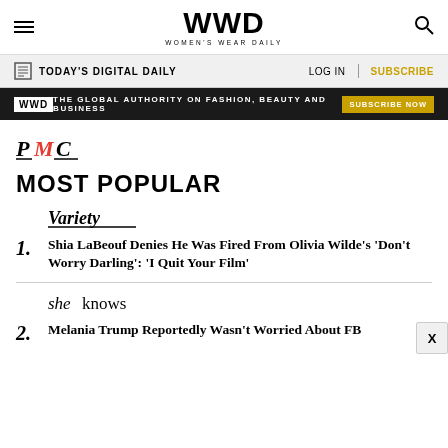WWD WOMEN'S WEAR DAILY
TODAY'S DIGITAL DAILY | LOG IN | SUBSCRIBE
WWD THE GLOBAL AUTHORITY ON FASHION, BEAUTY AND BUSINESS SUBSCRIBE NOW
[Figure (logo): PMC logo in italic serif font with red M]
MOST POPULAR
[Figure (logo): Variety logo in italic serif font with underline]
Shia LaBeouf Denies He Was Fired From Olivia Wilde's 'Don't Worry Darling': 'I Quit Your Film'
[Figure (logo): SheKnows logo in italic serif font]
Melania Trump Reportedly Wasn't Worried About FB